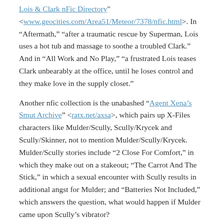Lois & Clark nFic Directory" <www.geocities.com/Area51/Meteor/7378/nfic.html>. In "Aftermath," "after a traumatic rescue by Superman, Lois uses a hot tub and massage to soothe a troubled Clark." And in "All Work and No Play," "a frustrated Lois teases Clark unbearably at the office, until he loses control and they make love in the supply closet."
Another nfic collection is the unabashed "Agent Xena's Smut Archive" <ratx.net/axsa>, which pairs up X-Files characters like Mulder/Scully, Scully/Krycek and Scully/Skinner, not to mention Mulder/Scully/Krycek. Mulder/Scully stories include “2 Close For Comfort,” in which they make out on a stakeout; “The Carrot And The Stick,” in which a sexual encounter with Scully results in additional angst for Mulder; and “Batteries Not Included,” which answers the question, what would happen if Mulder came upon Scully’s vibrator?
“Fan Fiction on the Net” <members.aol.com/KSNicholas/fanfic>, is a resource page with links to fan fiction based on such diverse muses as